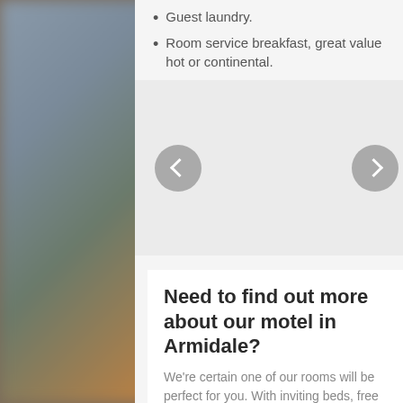Guest laundry.
Room service breakfast, great value hot or continental.
[Figure (other): Image carousel with left and right navigation arrow buttons on a light gray background]
Need to find out more about our motel in Armidale?
We're certain one of our rooms will be perfect for you. With inviting beds, free WIFI, and